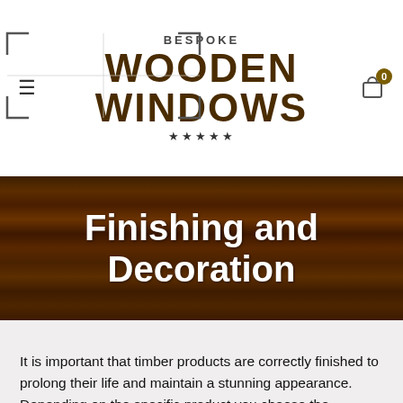[Figure (logo): Bespoke Wooden Windows logo with corner bracket marks and five stars]
Finishing and Decoration
It is important that timber products are correctly finished to prolong their life and maintain a stunning appearance. Depending on the specific product you choose the decoration requirements may vary, so it is important you adhere to the finishing guidance